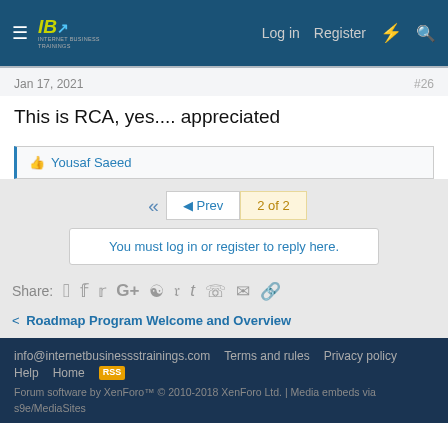Internet Business Trainings — Log in  Register
Jan 17, 2021 · #26
This is RCA, yes.... appreciated
👍 Yousaf Saeed
« Prev  2 of 2
You must log in or register to reply here.
Share: f  Twitter  G+  Reddit  Pinterest  Tumblr  WhatsApp  Email  Link
< Roadmap Program Welcome and Overview
info@internetbusinessstrainings.com  Terms and rules  Privacy policy  Help  Home  RSS
Forum software by XenForo™ © 2010-2018 XenForo Ltd. | Media embeds via s9e/MediaSites